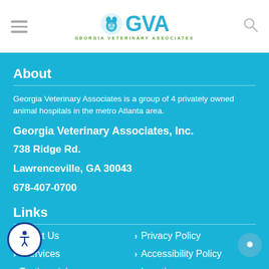GVA Georgia Veterinary Associates
About
Georgia Veterinary Associates is a group of 4 privately owned animal hospitals in the metro Atlanta area.
Georgia Veterinary Associates, Inc.
738 Ridge Rd.
Lawrenceville, GA 30043
678-407-0700
Links
About Us
Privacy Policy
Services
Accessibility Policy
Testimonials
Locations